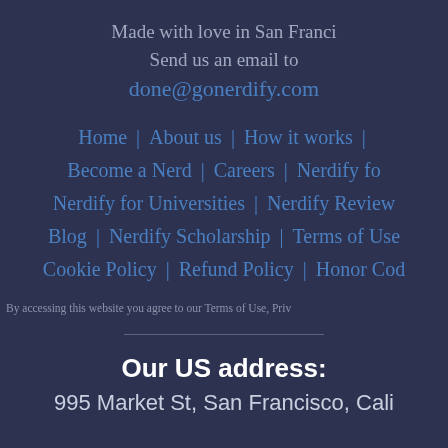Made with love in San Francisco
Send us an email to
done@gonerdify.com
Home | About us | How it works | Become a Nerd | Careers | Nerdify for... | Nerdify for Universities | Nerdify Reviews | Blog | Nerdify Scholarship | Terms of Use | Cookie Policy | Refund Policy | Honor Code
By accessing this website you agree to our Terms of Use, Privacy...
Our US address:
995 Market St, San Francisco, California...